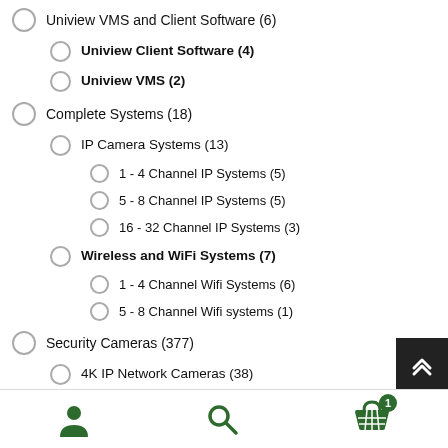Uniview VMS and Client Software (6)
Uniview Client Software (4)
Uniview VMS (2)
Complete Systems (18)
IP Camera Systems (13)
1 - 4 Channel IP Systems (5)
5 - 8 Channel IP Systems (5)
16 - 32 Channel IP Systems (3)
Wireless and WiFi Systems (7)
1 - 4 Channel Wifi Systems (6)
5 - 8 Channel Wifi systems (1)
Security Cameras (377)
4K IP Network Cameras (38)